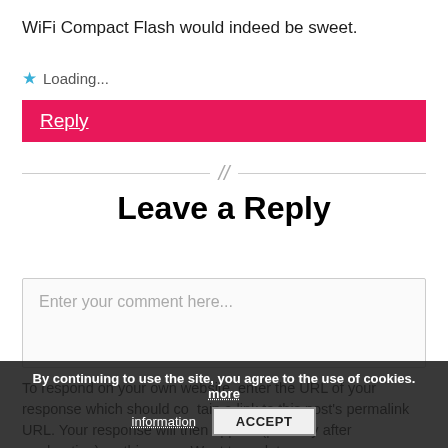WiFi Compact Flash would indeed be sweet.
★ Loading...
Reply
Leave a Reply
Enter your comment here...
To respond on your own website, enter the URL of your response which should contain a link to this post's permalink URL. Your response will then appear (possibly after moderation) on this page. Want to update or
By continuing to use the site, you agree to the use of cookies. more information
ACCEPT